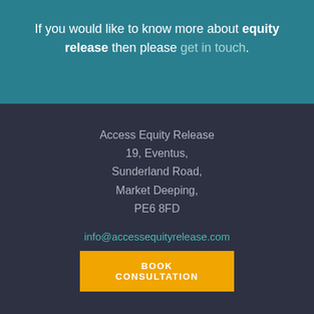If you would like to know more about equity release then please get in touch.
Access Equity Release
19, Eventus,
Sunderland Road,
Market Deeping,
PE6 8FD
info@accessequityrelease.com
BOOK CONSULTATION